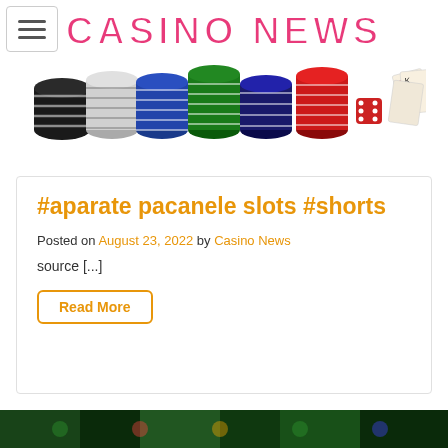CASINO NEWS
[Figure (illustration): Casino chips stacked in various colors (black, white/grey, green, red) with red dice and a deck of playing cards on white background, with CASINO NEWS text logo above in pink/magenta outlined font]
#aparate pacanele slots #shorts
Posted on August 23, 2022 by Casino News
source [...]
Read More
[Figure (photo): Bottom image strip showing green casino table felt or slot machine imagery]